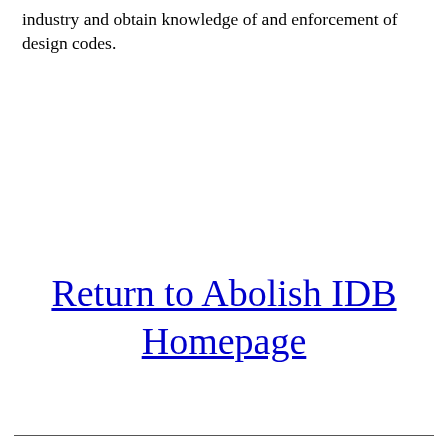industry and obtain knowledge of and enforcement of design codes.
Return to Abolish IDB Homepage